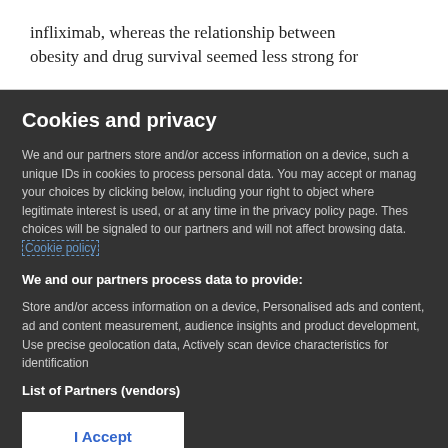infliximab, whereas the relationship between obesity and drug survival seemed less strong for
Cookies and privacy
We and our partners store and/or access information on a device, such as unique IDs in cookies to process personal data. You may accept or manage your choices by clicking below, including your right to object where legitimate interest is used, or at any time in the privacy policy page. These choices will be signaled to our partners and will not affect browsing data. Cookie policy
We and our partners process data to provide:
Store and/or access information on a device, Personalised ads and content, ad and content measurement, audience insights and product development, Use precise geolocation data, Actively scan device characteristics for identification
List of Partners (vendors)
I Accept